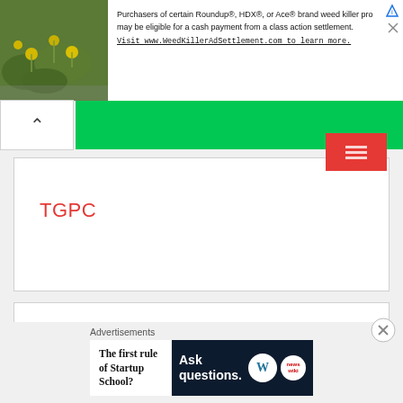[Figure (screenshot): Ad banner at top: plant/flower photo on left, text about Roundup class action settlement on right, with triangular ad icon and close button]
Purchasers of certain Roundup®, HDX®, or Ace® brand weed killer pro may be eligible for a cash payment from a class action settlement. Visit www.WeedKillerAdSettlement.com to learn more.
[Figure (screenshot): Navigation bar with back chevron and green bar]
TGPC
India's Miss TGPC
Advertisements
The first rule of Startup School?
Ask questions.